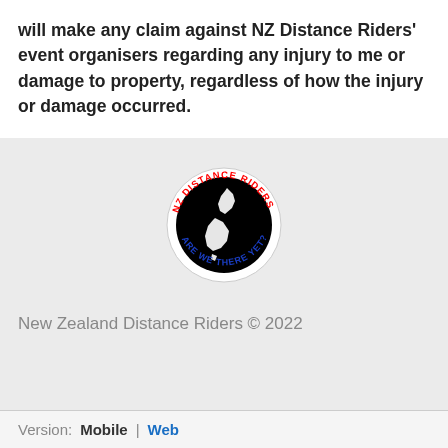will make any claim against NZ Distance Riders' event organisers regarding any injury to me or damage to property, regardless of how the injury or damage occurred.
[Figure (logo): NZ Distance Riders circular logo with black background showing New Zealand map outline, red text 'NZ DISTANCE RIDERS' at top and blue text 'ARE WE THERE YET?' at bottom]
New Zealand Distance Riders © 2022
Version: Mobile | Web